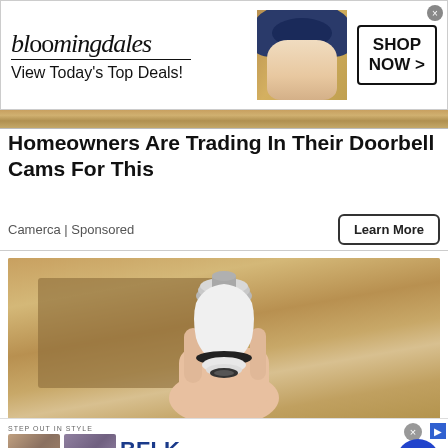[Figure (other): Bloomingdales advertisement banner: logo, 'View Today's Top Deals!', woman with blue hat, SHOP NOW button]
Homeowners Are Trading In Their Doorbell Cams For This
Camerca | Sponsored
Learn More
[Figure (photo): A hand holding a white bulb-shaped security camera with a metallic screw top and black ring at the bottom]
[Figure (other): Belk advertisement: STEP OUT IN STYLE, BELK logo, Step out in style. www.belk.com, two product thumbnails, navigation arrow]